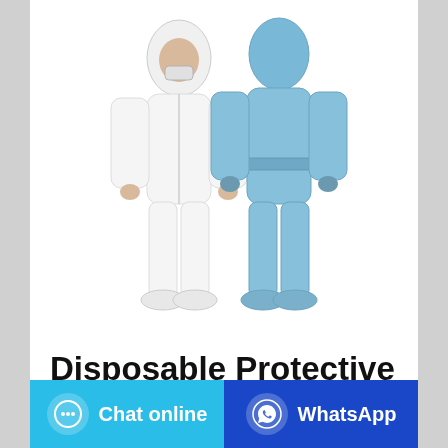[Figure (photo): Two people wearing full-body disposable protective clothing/coveralls. Left figure wears white coverall with hood and face mask, viewed from front. Right figure wears light blue coverall with hood, viewed from back. Both wearing boot covers.]
Disposable Protective Clothing Coveralls...
Chat online
WhatsApp